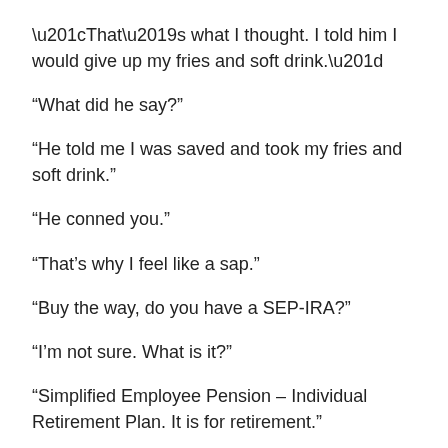“That’s what I thought. I told him I would give up my fries and soft drink.”
“What did he say?”
“He told me I was saved and took my fries and soft drink.”
“He conned you.”
“That’s why I feel like a sap.”
“Buy the way, do you have a SEP-IRA?”
“I’m not sure. What is it?”
“Simplified Employee Pension – Individual Retirement Plan. It is for retirement.”
“No, I don’t think so.”